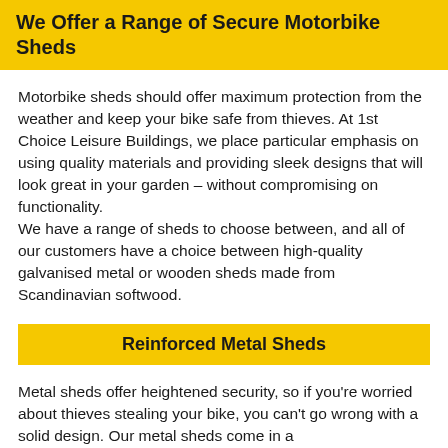We Offer a Range of Secure Motorbike Sheds
Motorbike sheds should offer maximum protection from the weather and keep your bike safe from thieves. At 1st Choice Leisure Buildings, we place particular emphasis on using quality materials and providing sleek designs that will look great in your garden – without compromising on functionality. We have a range of sheds to choose between, and all of our customers have a choice between high-quality galvanised metal or wooden sheds made from Scandinavian softwood.
Reinforced Metal Sheds
Metal sheds offer heightened security, so if you're worried about thieves stealing your bike, you can't go wrong with a solid design. Our metal sheds come in a